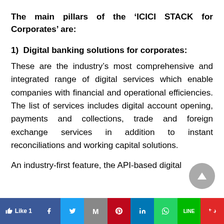The main pillars of the ‘ICICI STACK for Corporates’ are:
1) Digital banking solutions for corporates:
These are the industry’s most comprehensive and integrated range of digital services which enable companies with financial and operational efficiencies. The list of services includes digital account opening, payments and collections, trade and foreign exchange services in addition to instant reconciliations and working capital solutions.
An industry-first feature, the API-based digital
Like 1 | Facebook | Twitter | Gmail | Pinterest | LinkedIn | WhatsApp | LINE | Flipboard